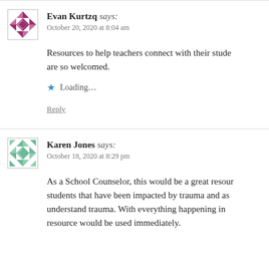Evan Kurtzq says: October 20, 2020 at 8:04 am
Resources to help teachers connect with their students are so welcomed.
Loading...
Reply
Karen Jones says: October 18, 2020 at 8:29 pm
As a School Counselor, this would be a great resource for students that have been impacted by trauma and as they understand trauma. With everything happening in ... resource would be used immediately.